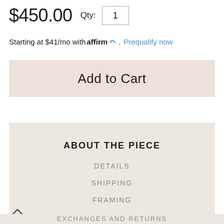$450.00  Qty: 1
Starting at $41/mo with affirm. Prequalify now
Add to Cart
ABOUT THE PIECE
DETAILS
SHIPPING
FRAMING
EXCHANGES AND RETURNS